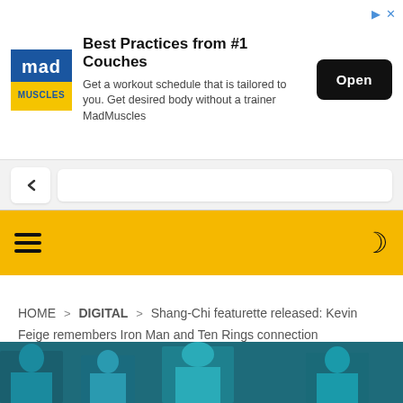[Figure (infographic): MadMuscles advertisement banner with logo, text 'Best Practices from #1 Couches', description about workout schedule, and an Open button]
Best Practices from #1 Couches
Get a workout schedule that is tailored to you. Get desired body without a trainer MadMuscles
[Figure (screenshot): Yellow site navigation header bar with hamburger menu icon on left and dark moon icon on right]
HOME > DIGITAL > Shang-Chi featurette released: Kevin Feige remembers Iron Man and Ten Rings connection
[Figure (photo): Shang-Chi movie promotional image showing multiple characters in teal-toned scene]